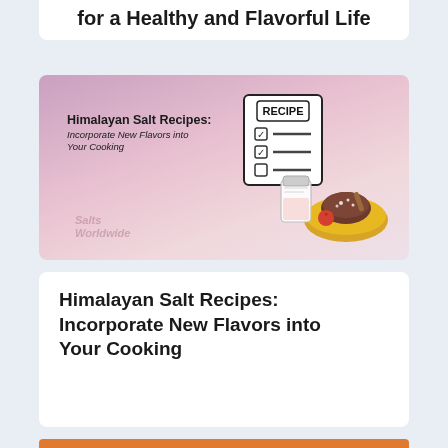for a Healthy and Flavorful Life
[Figure (illustration): Himalayan Salt Recipes book cover image with pink/purple gradient background, a recipe checklist card, a salt jar, and a plate with food. Text reads: Himalayan Salt Recipes: Incorporate New Flavors into Your Cooking. Watermark: Salts Worldwide.]
Himalayan Salt Recipes: Incorporate New Flavors into Your Cooking